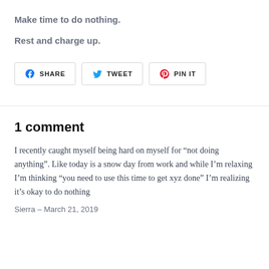Make time to do nothing.
Rest and charge up.
[Figure (other): Social share buttons: SHARE (Facebook), TWEET (Twitter), PIN IT (Pinterest)]
1 comment
I recently caught myself being hard on myself for “not doing anything”. Like today is a snow day from work and while I’m relaxing I’m thinking “you need to use this time to get xyz done” I’m realizing it’s okay to do nothing
Sierra – March 21, 2019